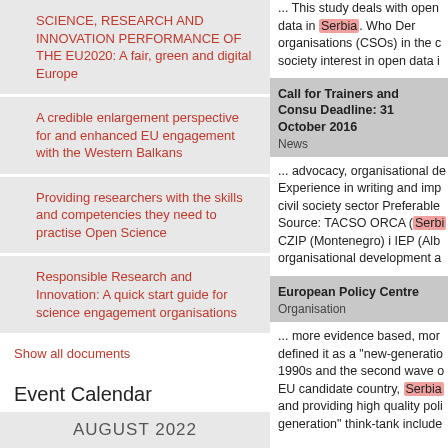SCIENCE, RESEARCH AND INNOVATION PERFORMANCE OF THE EU2020: A fair, green and digital Europe
A credible enlargement perspective for and enhanced EU engagement with the Western Balkans
Providing researchers with the skills and competencies they need to practise Open Science
Responsible Research and Innovation: A quick start guide for science engagement organisations
Show all documents
Event Calendar
AUGUST 2022
... This study deals with open data in Serbia. Who Der organisations (CSOs) in the c society interest in open data i
Call for Trainers and Consu Deadline: 31 October 2016
News
... advocacy, organisational de Experience in writing and imp civil society sector Preferable Source: TACSO ORCA (Serbi CZIP (Montenegro) i IEP (Alb organisational development a
European Policy Centre
Organisation
... more evidence based, mor defined it as a "new-generatio 1990s and the second wave o EU candidate country, Serbia and providing high quality poli generation" think-tank include